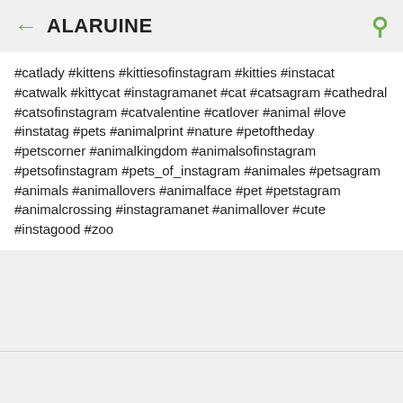ALARUINE
#catlady #kittens #kittiesofinstagram #kitties #instacat #catwalk #kittycat #instagramanet #cat #catsagram #cathedral #catsofinstagram #catvalentine #catlover #animal #love #instatag #pets #animalprint #nature #petoftheday #petscorner #animalkingdom #animalsofinstagram #petsofinstagram #pets_of_instagram #animales #petsagram #animals #animallovers #animalface #pet #petstagram #animalcrossing #instagramanet #animallover #cute #instagood #zoo